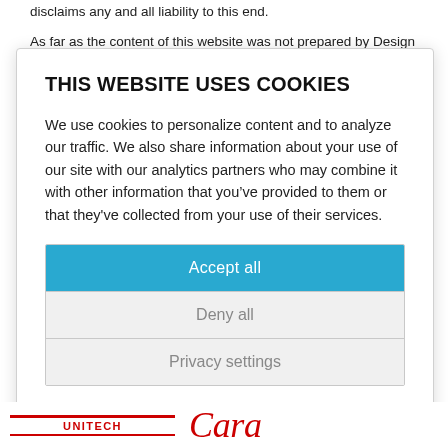disclaims any and all liability to this end.
As far as the content of this website was not prepared by Design & Development GmbH Textile Consult, copyrights of third parties are observed. In particular, content not created by Design & Development GmbH Textile Consult is designated as such. Should you notice any
THIS WEBSITE USES COOKIES
We use cookies to personalize content and to analyze our traffic. We also share information about your use of our site with our analytics partners who may combine it with other information that you’ve provided to them or that they've collected from your use of their services.
Accept all
Deny all
Privacy settings
Privacy
[Figure (logo): Footer logos: red-bordered text logo and red italic script logo]